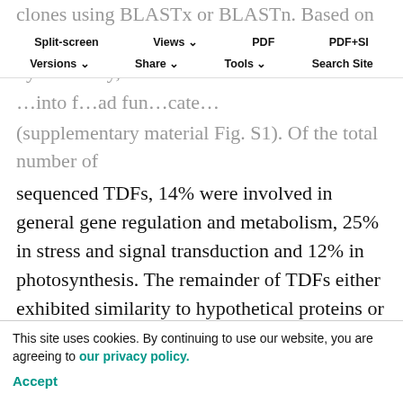clones using BLASTx or BLASTn. Based on the putative functions of the proteins inferred by similarity, the TDFs were … into functional categories (supplementary material Fig. S1). Of the total number of sequenced TDFs, 14% were involved in general gene regulation and metabolism, 25% in stress and signal transduction and 12% in photosynthesis. The remainder of TDFs either exhibited similarity to hypothetical proteins or proteins of unknown function, or were classified as TDFs with no significant similarity to proteins in the non-redundant database. Novel sequences were entered into the GenBank EST database. TDFs categorized as regulatory transcripts included a lingual lipase-like gene, TPA cysteine protease, a putative transactor, a methylCpG-binding protein, ethylene-responsive RNA helicase, C4-type zinc finger protein, ubiquitin and ubiquitin-protein ligase I
Split-screen  Views  PDF  PDF+SI  Versions  Share  Tools  Search Site